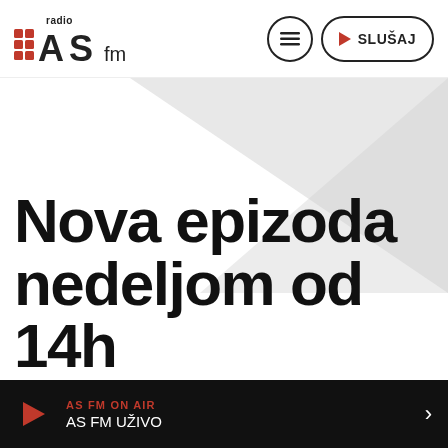[Figure (logo): Radio AS FM logo with red grid dots and stylized letters A, S, fm]
Radio AS FM header with menu button and SLUŠAJ (listen) button
[Figure (illustration): Diagonal grey and white geometric background shape]
Nova epizoda nedeljom od 14h
AS FM ON AIR | AS FM UŽIVO